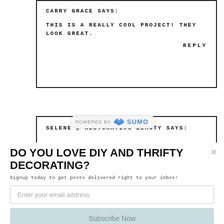CARRY GRACE SAYS:
THIS IS A REALLY COOL PROJECT! THEY LOOK GREAT.
REPLY
SELENE @ RESTORATION BEAUTY SAYS:
[Figure (logo): POWERED BY SUMO badge/pill with crown icon]
DO YOU LOVE DIY AND THRIFTY DECORATING?
Signup today to get posts delivered right to your inbox!
Enter your email address
Subscribe Now